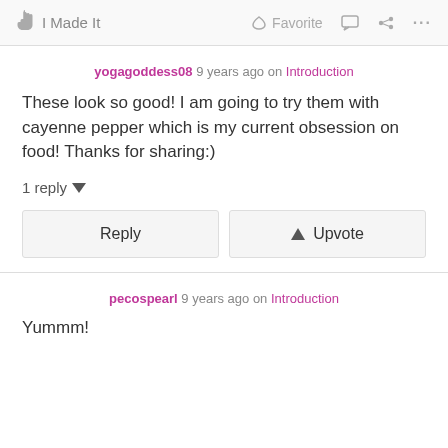I Made It  Favorite
yogagoddess08 9 years ago on Introduction
These look so good! I am going to try them with cayenne pepper which is my current obsession on food! Thanks for sharing:)
1 reply
Reply  Upvote
pecospearl 9 years ago on Introduction
Yummm!